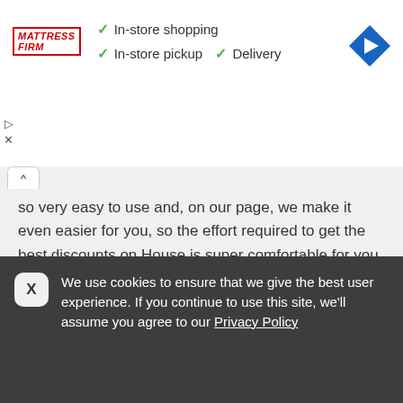[Figure (screenshot): Mattress Firm advertisement banner with checkmarks for In-store shopping, In-store pickup, Delivery, and a blue navigation arrow icon]
so very easy to use and, on our page, we make it even easier for you, so the effort required to get the best discounts on House is super comfortable for you.
We want to help our loyal visitors as much as possible to get a discount at as many online webshops in Australia. Therefore, beside House, we have over 20'000 other online webshops in Australia on our website with a wide range of Coupon Codes, offers and promotional codes.
We use cookies to ensure that we give the best user experience. If you continue to use this site, we'll assume you agree to our Privacy Policy